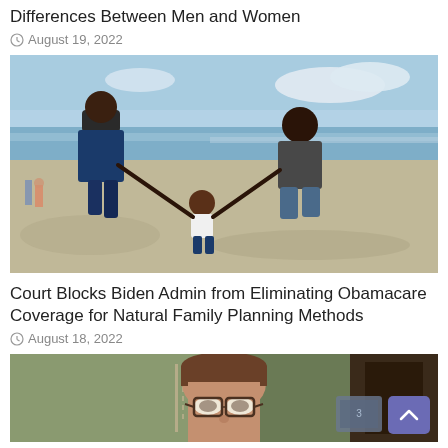Differences Between Men and Women
August 19, 2022
[Figure (photo): A family (man, woman, and toddler) walking on a beach, holding hands.]
Court Blocks Biden Admin from Eliminating Obamacare Coverage for Natural Family Planning Methods
August 18, 2022
[Figure (photo): Close-up of a woman with glasses looking at the camera, in an indoor setting.]